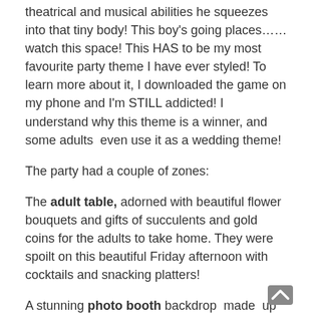theatrical and musical abilities he squeezes into that tiny body! This boy's going places……watch this space! This HAS to be my most favourite party theme I have ever styled! To learn more about it, I downloaded the game on my phone and I'm STILL addicted! I understand why this theme is a winner, and some adults  even use it as a wedding theme!
The party had a couple of zones:
The adult table, adorned with beautiful flower bouquets and gifts of succulents and gold coins for the adults to take home. They were spoilt on this beautiful Friday afternoon with cocktails and snacking platters!
A stunning photo booth backdrop  made  up of balloons and ghost faces, as well as the cutest photo booth props for kids and adults to strike a pose for some seriously